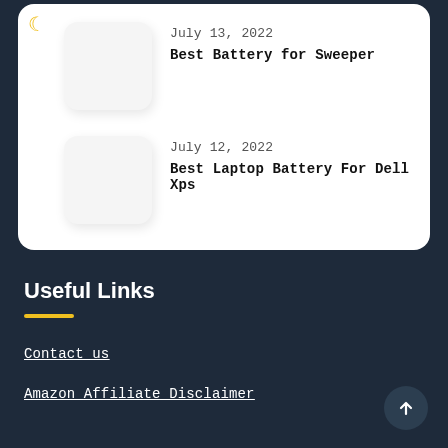July 13, 2022
Best Battery for Sweeper
July 12, 2022
Best Laptop Battery For Dell Xps
Useful Links
Contact us
Amazon Affiliate Disclaimer